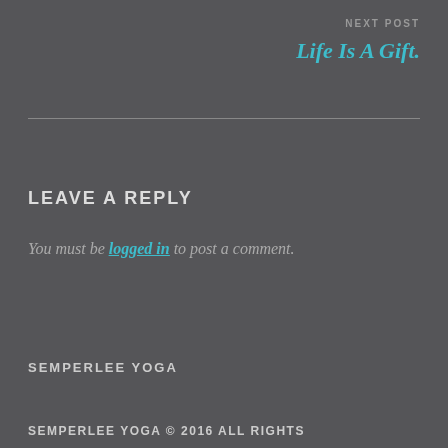NEXT POST
Life Is A Gift.
LEAVE A REPLY
You must be logged in to post a comment.
SEMPERLEE YOGA
SEMPERLEE YOGA © 2016 ALL RIGHTS